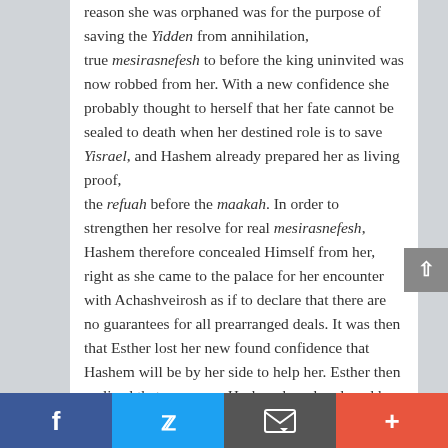reason she was orphaned was for the purpose of saving the Yidden from annihilation, true mesirasnefesh to before the king uninvited was now robbed from her. With a new confidence she probably thought to herself that her fate cannot be sealed to death when her destined role is to save Yisrael, and Hashem already prepared her as living proof, the refuah before the maakah. In order to strengthen her resolve for real mesirasnefesh, Hashem therefore concealed Himself from her, right as she came to the palace for her encounter with Achashveirosh as if to declare that there are no guarantees for all prearranged deals. It was then that Esther lost her new found confidence that Hashem will be by her side to help her. Esther then realized that now even Hashem has abandoned her and she is totally alone. This new concealment from Hashem stirred within Esther a new
Facebook | Twitter | Email | More